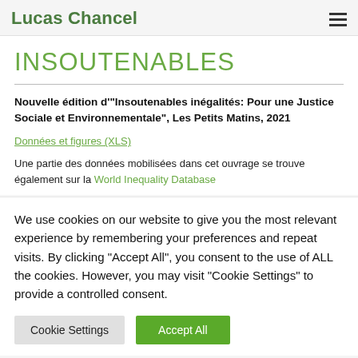Lucas Chancel
INSOUTENABLES
Nouvelle édition d'"Insoutenables inégalités: Pour une Justice Sociale et Environnementale", Les Petits Matins, 2021
Données et figures (XLS)
Une partie des données mobilisées dans cet ouvrage se trouve également sur la World Inequality Database
We use cookies on our website to give you the most relevant experience by remembering your preferences and repeat visits. By clicking "Accept All", you consent to the use of ALL the cookies. However, you may visit "Cookie Settings" to provide a controlled consent.
Cookie Settings | Accept All